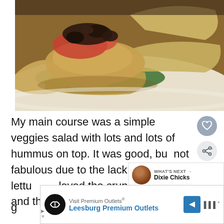[Figure (photo): Close-up photo of a restaurant dish: a veggies salad with hummus on top, garnished with olives and tomatoes, served with triangular pita chips on a white plate]
My main course was a simple veggies salad with lots and lots of hummus on top. It was good, but not fabulous due to the lackluster lettu[ce. I] loved the crunchy almonds and the dressing was g[ood]
WHAT'S NEXT → Dixie Chicks
Visit Premium Outlets® Leesburg Premium Outlets